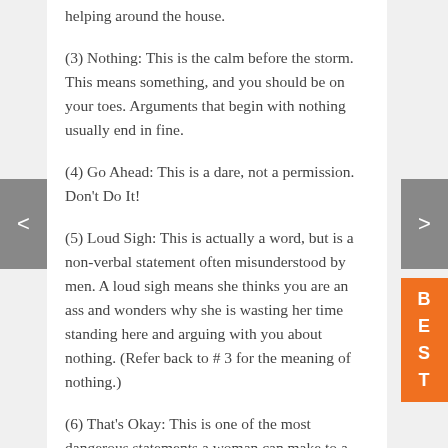helping around the house.
(3) Nothing: This is the calm before the storm. This means something, and you should be on your toes. Arguments that begin with nothing usually end in fine.
(4) Go Ahead: This is a dare, not a permission. Don't Do It!
(5) Loud Sigh: This is actually a word, but is a non-verbal statement often misunderstood by men. A loud sigh means she thinks you are an ass and wonders why she is wasting her time standing here and arguing with you about nothing. (Refer back to # 3 for the meaning of nothing.)
(6) That's Okay: This is one of the most dangerous statements a woman can make to a man. That's okay means she wants to